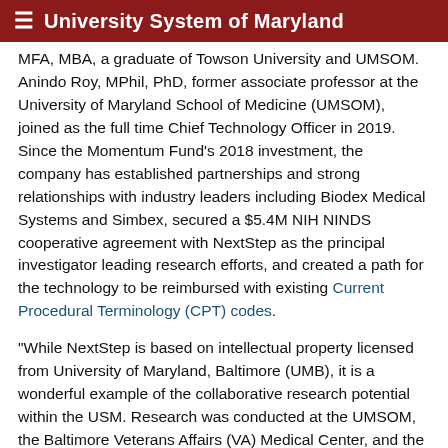University System of Maryland
MFA, MBA, a graduate of Towson University and UMSOM. Anindo Roy, MPhil, PhD, former associate professor at the University of Maryland School of Medicine (UMSOM), joined as the full time Chief Technology Officer in 2019. Since the Momentum Fund's 2018 investment, the company has established partnerships and strong relationships with industry leaders including Biodex Medical Systems and Simbex, secured a $5.4M NIH NINDS cooperative agreement with NextStep as the principal investigator leading research efforts, and created a path for the technology to be reimbursed with existing Current Procedural Terminology (CPT) codes.
“While NextStep is based on intellectual property licensed from University of Maryland, Baltimore (UMB), it is a wonderful example of the collaborative research potential within the USM. Research was conducted at the UMSOM, the Baltimore Veterans Affairs (VA) Medical Center, and the A. James Clark College of Engineering at the University of Maryland, College Park (UMCP).” said James L. Hughes, senior vice president chief enterprise and economic development officer for UMB. “The ability to combine all of these in our capabilities from